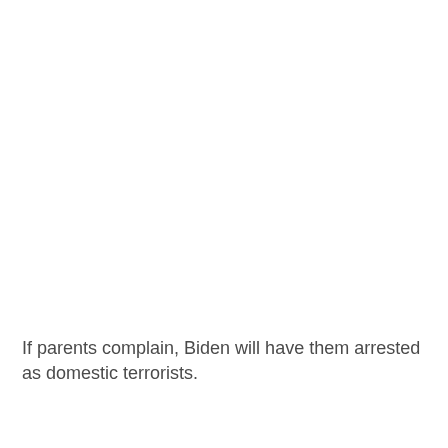If parents complain, Biden will have them arrested as domestic terrorists.